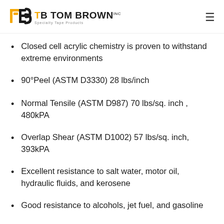TOM BROWN INC — Specialty Tape Products
Closed cell acrylic chemistry is proven to withstand extreme environments
90°Peel (ASTM D3330) 28 lbs/inch
Normal Tensile (ASTM D987) 70 lbs/sq. inch , 480kPA
Overlap Shear (ASTM D1002) 57 lbs/sq. inch, 393kPA
Excellent resistance to salt water, motor oil, hydraulic fluids, and kerosene
Good resistance to alcohols, jet fuel, and gasoline